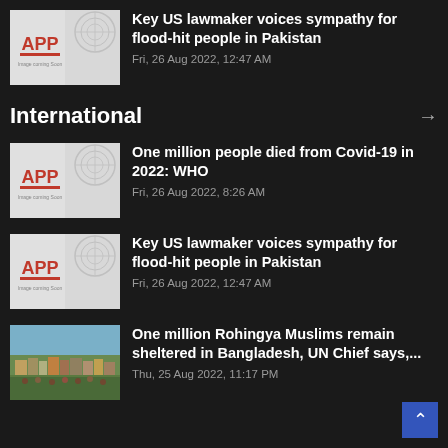Key US lawmaker voices sympathy for flood-hit people in Pakistan
Fri, 26 Aug 2022, 12:47 AM
International
One million people died from Covid-19 in 2022: WHO
Fri, 26 Aug 2022, 8:26 AM
Key US lawmaker voices sympathy for flood-hit people in Pakistan
Fri, 26 Aug 2022, 12:47 AM
One million Rohingya Muslims remain sheltered in Bangladesh, UN Chief says,...
Thu, 25 Aug 2022, 11:17 PM